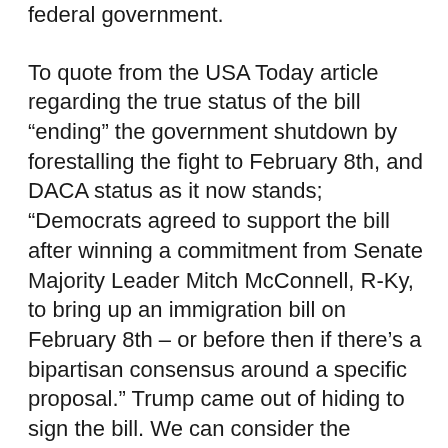federal government.
To quote from the USA Today article regarding the true status of the bill “ending” the government shutdown by forestalling the fight to February 8th, and DACA status as it now stands; “Democrats agreed to support the bill after winning a commitment from Senate Majority Leader Mitch McConnell, R-Ky, to bring up an immigration bill on February 8th – or before then if there’s a bipartisan consensus around a specific proposal.” Trump came out of hiding to sign the bill. We can consider the outcome of this “agreement” by Republicans as a foregone conclusion to continue ignoring the Dreamers and pushing for Trump’s wall.